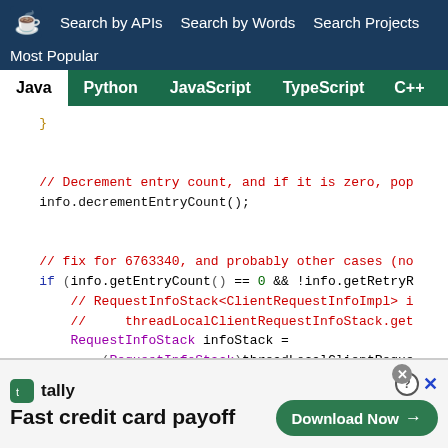Search by APIs   Search by Words   Search Projects
Most Popular
Java  Python  JavaScript  TypeScript  C++  Scala
[Figure (screenshot): Java code snippet showing decrementEntryCount, a fix for bug 6763340, and RequestInfoStack pop logic]
[Figure (screenshot): Advertisement banner: Tally - Fast credit card payoff, Download Now button]